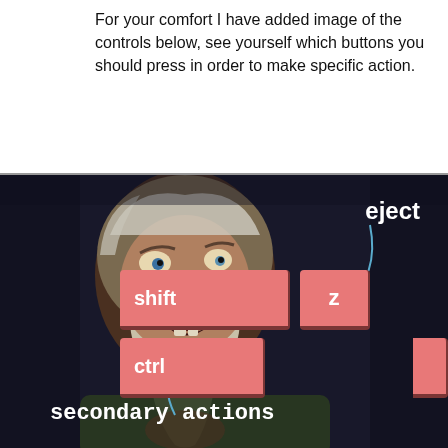For your comfort I have added image of the controls below, see yourself which buttons you should press in order to make specific action.
[Figure (illustration): Dark-background game screenshot showing an old bearded man's face in anguish, overlaid with pink keyboard key buttons labeled 'shift', 'z', and 'ctrl', plus a partial key on the right edge. Text labels 'eject' (top right) and 'secondary actions' (bottom left) with curved arrow annotations.]